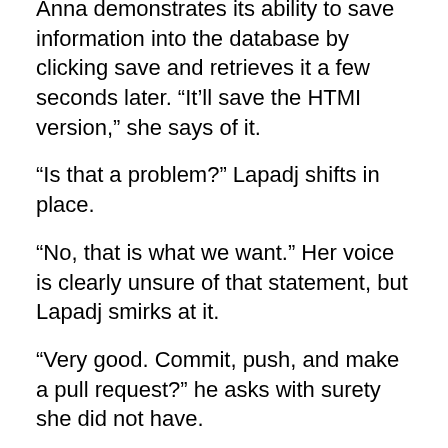Anna demonstrates its ability to save information into the database by clicking save and retrieves it a few seconds later. “It’ll save the HTMI version,” she says of it.
“Is that a problem?” Lapadj shifts in place.
“No, that is what we want.” Her voice is clearly unsure of that statement, but Lapadj smirks at it.
“Very good. Commit, push, and make a pull request?” he asks with surety she did not have.
She responds with a nod. He proceeds to type in all the respective git commands necessary without error. Following that, she revolves around in her chair to gaze at the clock on the wall, ignoring the one in the corner of the large computer screen.
“Wow, look how time flies,” she says. “Want to